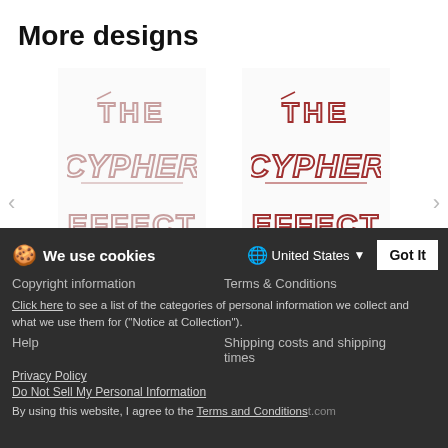More designs
[Figure (illustration): Two carousel items showing 'The Cypher Effect' graffiti-style logo: one in pink outline (pink outline tce2 png) and one in red outline (red outline tce2 png), with left/right navigation arrows and pagination dots]
Privacy
Legal Info
We use cookies
United States
Click here to see a list of the categories of personal information we collect and what we use them for ("Notice at Collection").
Copyright information
Help
Terms & Conditions
Privacy Policy
Do Not Sell My Personal Information
Shipping costs and shipping times
By using this website, I agree to the Terms and Conditions